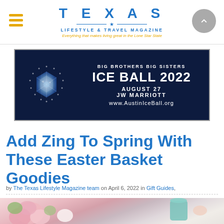TEXAS LIFESTYLE & TRAVEL MAGAZINE — Everything that makes living great in the Lone Star State
[Figure (infographic): Big Brothers Big Sisters Ice Ball 2022 advertisement banner. Dark navy blue background with diamond gem graphic on left. Text: BIG BROTHERS BIG SISTERS ICE BALL 2022 AUGUST 27 JW MARRIOTT www.AustinIceBall.org]
Add Zing To Spring With These Easter Basket Goodies
by The Texas Lifestyle Magazine team on April 6, 2022 in Gift Guides,
[Figure (photo): Photo of pink and white flowers (carnations/peonies) with Easter items including a teal mug and macarons on a white background]